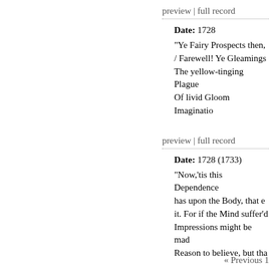preview | full record
Date: 1728
"Ye Fairy Prospects then, / Farewell! Ye Gleamings The yellow-tinging Plague Of livid Gloom Imaginatio
preview | full record
Date: 1728 (1733)
"Now,'tis this Dependence has upon the Body, that e it. For if the Mind suffer'd Impressions might be mad Reason to believe, but tha
preview | full record
« Previous 1